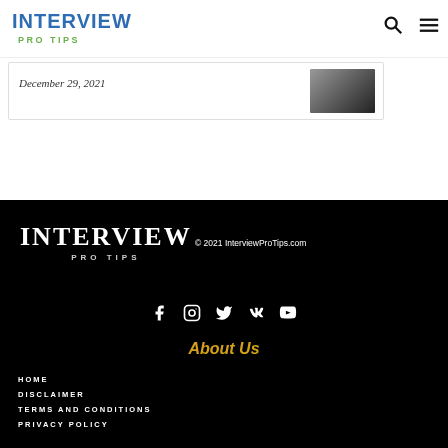INTERVIEW PRO TIPS
December 29, 2021
[Figure (logo): Interview Pro Tips footer logo with copyright 2021 InterviewProTips.com]
© 2021 InterviewProTips.com
[Figure (infographic): Social media icons: Facebook, Instagram, Twitter, VK, YouTube]
About Us
HOME
DISCLAIMER
TERMS AND CONDITIONS
PRIVACY POLICY